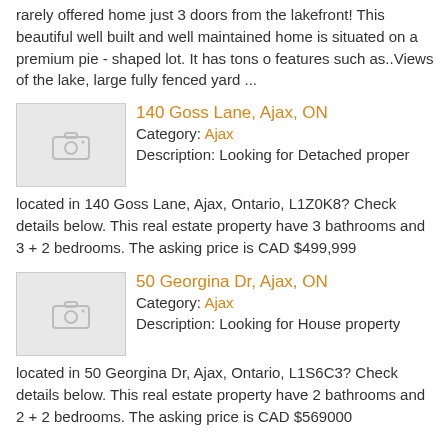rarely offered home just 3 doors from the lakefront! This beautiful well built and well maintained home is situated on a premium pie - shaped lot. It has tons of features such as..Views of the lake, large fully fenced yard ...
140 Goss Lane, Ajax, ON
Category: Ajax
Description: Looking for Detached property located in 140 Goss Lane, Ajax, Ontario, L1Z0K8? Check details below. This real estate property have 3 bathrooms and 3 + 2 bedrooms. The asking price is CAD $499,999
[Figure (photo): Placeholder image with camera icon for 140 Goss Lane listing]
50 Georgina Dr, Ajax, ON
Category: Ajax
Description: Looking for House property located in 50 Georgina Dr, Ajax, Ontario, L1S6C3? Check details below. This real estate property have 2 bathrooms and 2 + 2 bedrooms. The asking price is CAD $569000
[Figure (photo): Placeholder image with camera icon for 50 Georgina Dr listing]